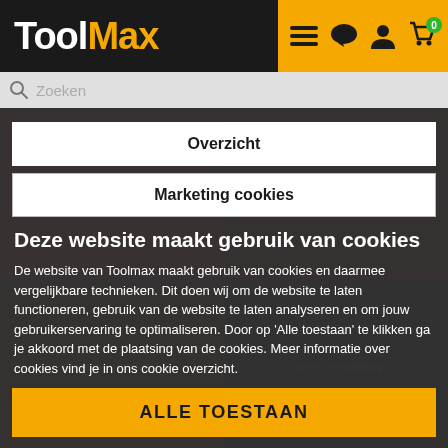ToolMax
Overzicht
Marketing cookies
Deze website maakt gebruik van cookies
De website van Toolmax maakt gebruik van cookies en daarmee vergelijkbare technieken. Dit doen wij om de website te laten functioneren, gebruik van de website te laten analyseren en om jouw gebruikerservaring te optimaliseren. Door op 'Alle toestaan' te klikken ga je akkoord met de plaatsing van de cookies. Meer informatie over cookies vind je in ons cookie overzicht.
ALLE TOESTAAN